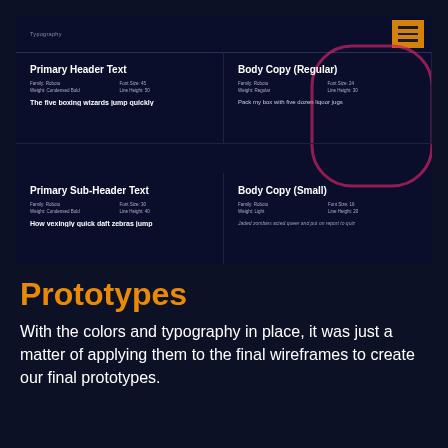[Figure (screenshot): Typography showcase panel on dark navy background showing Primary Header Text (Family: Roboto, Weight: Condensed Bold, Font Size: 45, Line Height: 50) with sample 'The five boxing wizards jump quickly', Body Copy Regular (Family: Roboto, Weight: Regular, Font Size: 24, Line Height: 30) with sample 'Pack my box with five dozen liquor jugs', Primary Sub-Header Text (Family: Roboto, Weight: Condensed Bold, Font Size: 30, Line Height: 40) with sample 'How vexingly quick daft zebras jump', Body Copy Small (Family: Roboto, Weight: Light, Font Size: 16, Line Height: 20) with italic sample. Includes hamburger menu icon in orange and decorative magenta circle outline.]
Typography
Prototypes
With the colors and typography in place, it was just a matter of applying them to the final wireframes to create our final prototypes.